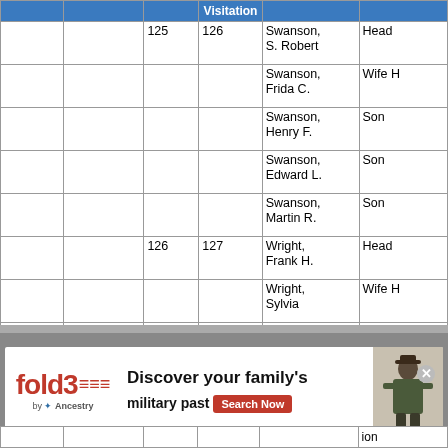|  |  |  | Visitation |  |  |
| --- | --- | --- | --- | --- | --- |
|  |  | 125 | 126 | Swanson, S. Robert | Head |
|  |  |  |  | Swanson, Frida C. | Wife H |
|  |  |  |  | Swanson, Henry F. | Son |
|  |  |  |  | Swanson, Edward L. | Son |
|  |  |  |  | Swanson, Martin R. | Son |
|  |  | 126 | 127 | Wright, Frank H. | Head |
|  |  |  |  | Wright, Sylvia | Wife H |
|  |  |  |  | Wright, Margret | Daughter |
|  |  |  |  | Wright, Robert | Son |
|  |  |  |  | Wright, [...] | Daughter |
[Figure (infographic): Fold3 by Ancestry advertisement banner: 'Discover your family's military past' with Search Now button and soldier illustration]